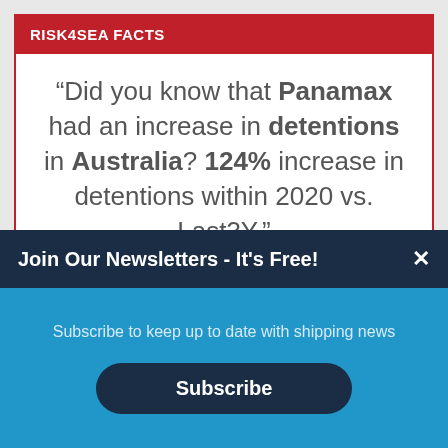RISK4SEA FACTS
“Did you know that Panamax had an increase in detentions in Australia? 124% increase in detentions within 2020 vs. Last3Y.”
Join Our Newsletters - It's Free!
Subscribe to keep up to date with shipping news